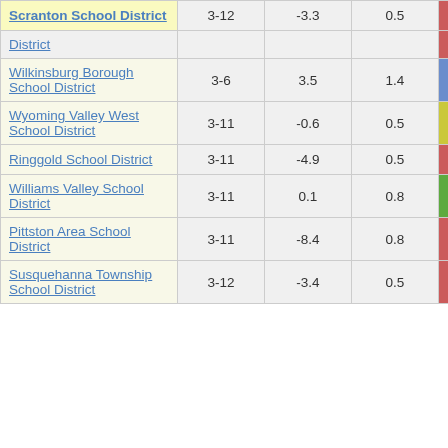| School District | Grades | Col3 | Col4 | Score |
| --- | --- | --- | --- | --- |
| Scranton School District | 3-12 | -3.3 | 0.5 | -7.11 |
| District |  |  |  |  |
| Wilkinsburg Borough School District | 3-6 | 3.5 | 1.4 | 2.53 |
| Wyoming Valley West School District | 3-11 | -0.6 | 0.5 | -1.38 |
| Ringgold School District | 3-11 | -4.9 | 0.5 | -10.49 |
| Williams Valley School District | 3-11 | 0.1 | 0.8 | 0.08 |
| Pittston Area School District | 3-11 | -8.4 | 0.8 | -11.15 |
| Susquehanna Township School District | 3-12 | -3.4 | 0.5 | -7.32 |